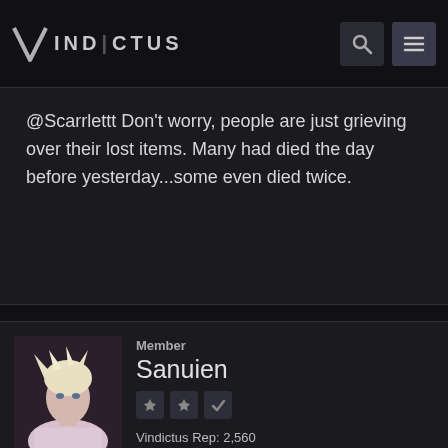VIND|CTUS
@Scarrlettt Don't worry, people are just grieving over their lost items. Many had died the day before yesterday...some even died twice.
Member
Sanuien
Vindictus Rep: 2,560
Posts: 194
JANUARY 12, 2017
Is Nemhaim required to kill to continue the main story that comes after 77 boards like to attach his old h